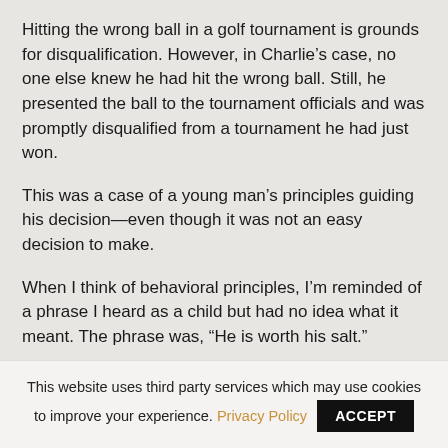Hitting the wrong ball in a golf tournament is grounds for disqualification. However, in Charlie’s case, no one else knew he had hit the wrong ball. Still, he presented the ball to the tournament officials and was promptly disqualified from a tournament he had just won.
This was a case of a young man’s principles guiding his decision—even though it was not an easy decision to make.
When I think of behavioral principles, I’m reminded of a phrase I heard as a child but had no idea what it meant. The phrase was, “He is worth his salt.”
As someone who cooks quite a bit, I didn’t think being compared to a cheap commodity like salt seemed particularly complimentary, but the phrase supposedly has
This website uses third party services which may use cookies to improve your experience. Privacy Policy ACCEPT